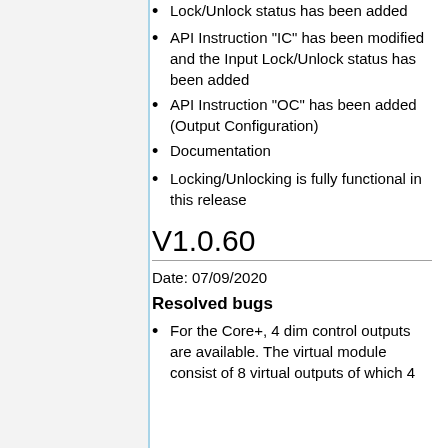Lock/Unlock status has been added
API Instruction "IC" has been modified and the Input Lock/Unlock status has been added
API Instruction "OC" has been added (Output Configuration)
Documentation
Locking/Unlocking is fully functional in this release
V1.0.60
Date: 07/09/2020
Resolved bugs
For the Core+, 4 dim control outputs are available. The virtual module consist of 8 virtual outputs of which 4